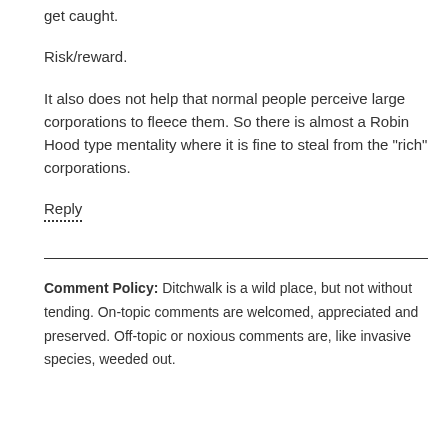get caught.
Risk/reward.
It also does not help that normal people perceive large corporations to fleece them. So there is almost a Robin Hood type mentality where it is fine to steal from the "rich" corporations.
Reply
Comment Policy: Ditchwalk is a wild place, but not without tending. On-topic comments are welcomed, appreciated and preserved. Off-topic or noxious comments are, like invasive species, weeded out.